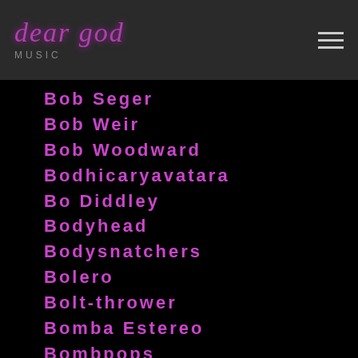dear god
Bob Seger
Bob Weir
Bob Woodward
Bodhicaryavatara
Bo Diddley
Bodyhead
Bodysnatchers
Bolero
Bolt-thrower
Bomba Estereo
Bombpops
Bomb Squad
Bones Brigade
Bon Jovi
Bonnie-raitt
Bono
Bon Scott